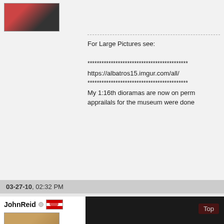[Figure (photo): Avatar photo of a person in a red hoodie, cropped at top of page]
For Large Pictures see:

*******************************************
https://albatros15.imgur.com/all/
*******************************************
My 1:16th dioramas are now on perm apprailals for the museum were done
03-27-10, 02:32 PM
JohnReid
[Figure (photo): Avatar photo of an older person with white/grey hair]
[Figure (photo): Dark image with Top button overlay]